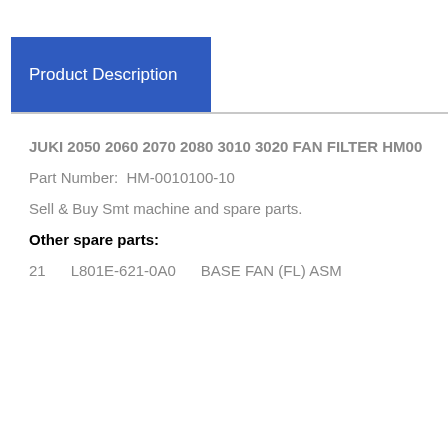Product Description
JUKI 2050 2060 2070 2080 3010 3020 FAN FILTER HM00
Part Number:  HM-0010100-10
Sell & Buy Smt machine and spare parts.
Other spare parts:
21      L801E-621-0A0      BASE FAN (FL) ASM